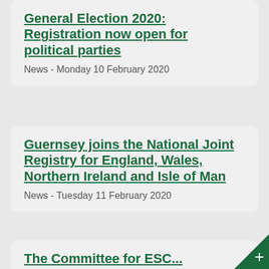General Election 2020: Registration now open for political parties
News - Monday 10 February 2020
Guernsey joins the National Joint Registry for England, Wales, Northern Ireland and Isle of Man
News - Tuesday 11 February 2020
The Committee for ESC...